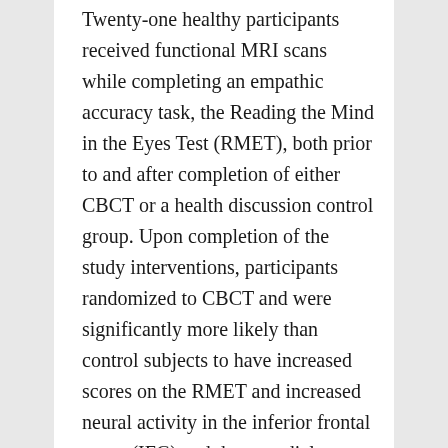Twenty-one healthy participants received functional MRI scans while completing an empathic accuracy task, the Reading the Mind in the Eyes Test (RMET), both prior to and after completion of either CBCT or a health discussion control group. Upon completion of the study interventions, participants randomized to CBCT and were significantly more likely than control subjects to have increased scores on the RMET and increased neural activity in the inferior frontal gyrus (IFG) and dorsomedial prefrontal cortex (dmPFC). Moreover, changes in dmPFC and IFG activity from baseline to the post-intervention